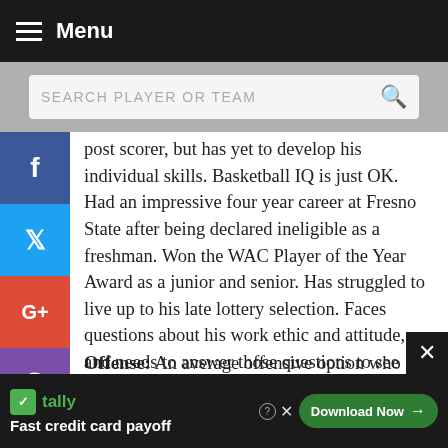Menu
post scorer, but has yet to develop his individual skills. Basketball IQ is just OK. Had an impressive four year career at Fresno State after being declared ineligible as a freshman. Won the WAC Player of the Year Award as a junior and senior. Has struggled to live up to his late lottery selection. Faces questions about his work ethic and attitude, and needs to answer those questions to see playing time wherever he ends up.
Offense: An average offensive option who gets more than half of his offense one on one in the post. Not going to impress anyone with his
around the basket. Can scor- eit from